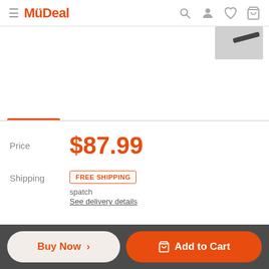MyDeal
[Figure (screenshot): Partial product image visible in top right corner of the product image area]
Price  $87.99
Shipping  FREE SHIPPING
See delivery details
Buy Now >   Add to Cart